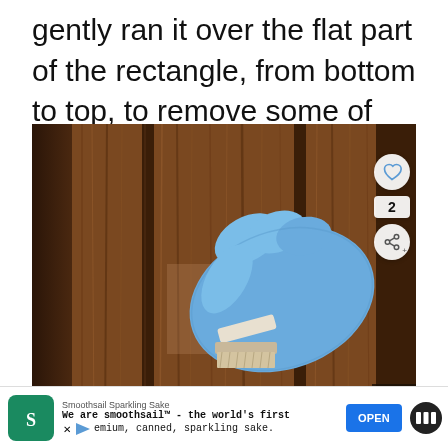gently ran it over the flat part of the rectangle, from bottom to top, to remove some of the gel stain and to add a woodgrain pattern to the door.
[Figure (photo): A gloved hand wearing a blue latex glove holding a small brush tool against a wooden door, applying gel stain to create a woodgrain pattern. The door shows rich brown wood tones with visible grain lines.]
Smoothsail Sparkling Sake
We are smoothsail™ - the world's first premium, canned, sparkling sake.